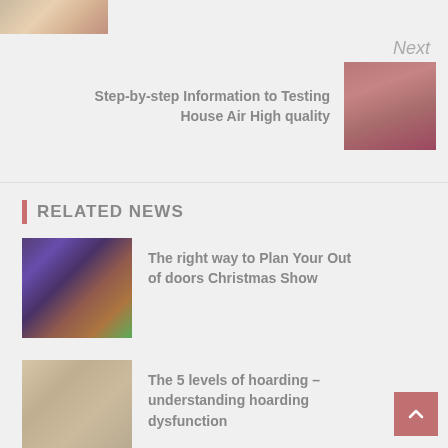[Figure (photo): Small thumbnail image at top left, partially visible]
Next
Step-by-step Information to Testing House Air High quality
[Figure (photo): Casino/gambling scene with people around a table]
RELATED NEWS
[Figure (photo): Colorful Christmas lights bokeh photo]
The right way to Plan Your Out of doors Christmas Show
[Figure (photo): Hoarding/cluttered room with lots of items]
The 5 levels of hoarding – understanding hoarding dysfunction